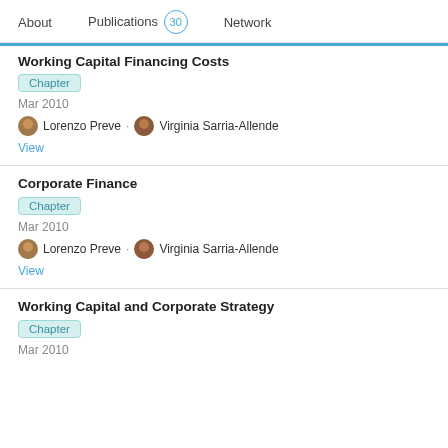About   Publications 30   Network
Working Capital Financing Costs
Chapter
Mar 2010
Lorenzo Preve · Virginia Sarria-Allende
View
Corporate Finance
Chapter
Mar 2010
Lorenzo Preve · Virginia Sarria-Allende
View
Working Capital and Corporate Strategy
Chapter
Mar 2010